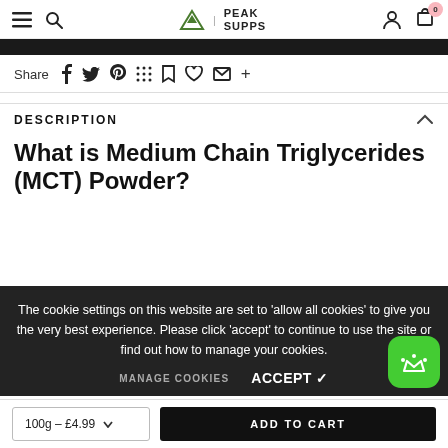Peak Supps — navigation bar with menu, search, logo, account, cart (0)
Share (social icons: Facebook, Twitter, Pinterest, Grid, Bookmark, Heart, Email, Plus)
DESCRIPTION
What is Medium Chain Triglycerides (MCT) Powder?
The cookie settings on this website are set to 'allow all cookies' to give you the very best experience. Please click 'accept' to continue to use the site or find out how to manage your cookies.
MANAGE COOKIES   ACCEPT ✓
100g – £4.99   ADD TO CART